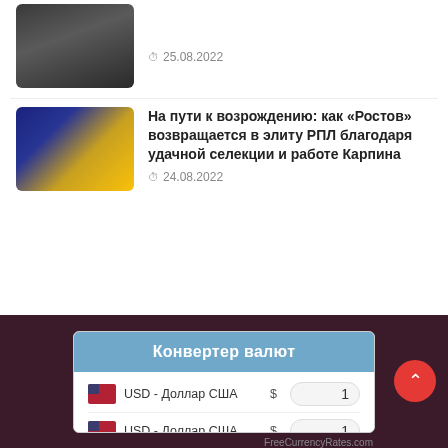[Figure (photo): Thumbnail image of football players, dark/shadow tones]
25.08.2022
[Figure (photo): Football players in yellow jerseys (#15, #18) celebrating]
На пути к возрождению: как «Ростов» возвращается в элиту РПЛ благодаря удачной селекции и работе Карпина
24.08.2022
| Валюта | Символ | Значение |
| --- | --- | --- |
| USD - Доллар США | $ | 1 |
| USD - Доллар США | $ | 1 |
| EUR - Евро | € | 1.00 |
| RUB - Российский р... | ₽ | 59.90 |
| BCH - Bitcoin Cash | ₿ | 0.0077 |
25 августа 2022
FreeCurrencyRates.com